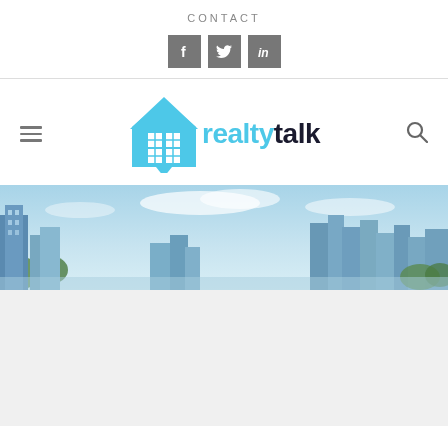CONTACT
[Figure (logo): Social media icons: Facebook, Twitter, LinkedIn - gray square buttons]
[Figure (logo): RealtyTalk logo with blue house icon, 'realty' in blue and 'talk' in dark/black]
[Figure (photo): City skyline panoramic photo with modern buildings and blue sky]